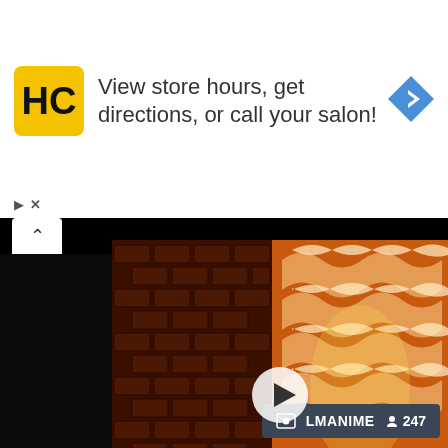[Figure (screenshot): Advertisement banner for a hair salon service showing HC logo, text 'View store hours, get directions, or call your salon!', and a blue navigation arrow icon. Below the ad is a video thumbnail of a veneer lamp with brick wall background and VENKO WOOD logo caption reading 'Beautiful veneer lamp'. A channel info badge shows LMANIME with 247 subscribers.]